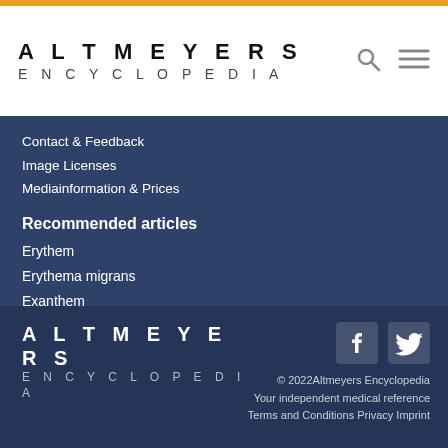ALTMEYERS ENCYCLOPEDIA
Contact & Feedback
Image Licenses
Mediainformation & Prices
Recommended articles
Erythem
Erythema migrans
Exanthem
Pruritus
Seborrhoisches Ekzem
Ulcus
ALTMEYERS ENCYCLOPEDIA © 2022Altmeyers Encyclopedia Your independent medical reference Terms and Conditions Privacy Imprint